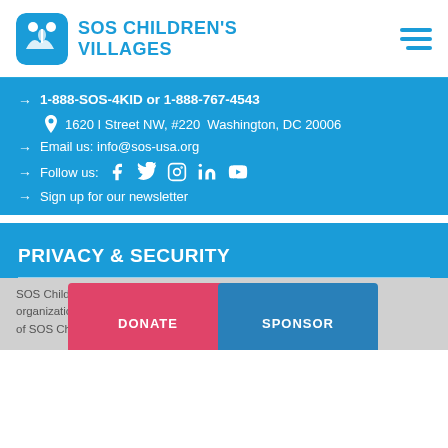SOS CHILDREN'S VILLAGES
1-888-SOS-4KID or 1-888-767-4543
1620 I Street NW, #220  Washington, DC 20006
Email us: info@sos-usa.org
Follow us: [Facebook] [Twitter] [Instagram] [LinkedIn] [YouTube]
Sign up for our newsletter
PRIVACY & SECURITY
SOS Children's Villages is a 501(c)(3) nonprofit organization (EIN: 13-1610829). The U.S. headquarters of SOS Children's Villages International.